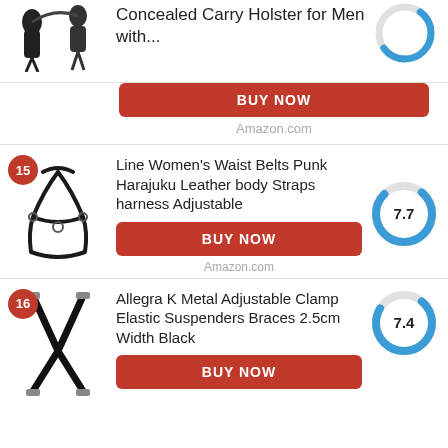[Figure (photo): Concealed carry holster product images (partial, top of page)]
Concealed Carry Holster for Men with...
[Figure (donut-chart): Score circle (partial, top)]
BUY NOW
Amazon.com
[Figure (photo): Line Women's Waist Belts Punk Harajuku Leather body Straps harness product image]
Line Women's Waist Belts Punk Harajuku Leather body Straps harness Adjustable
[Figure (donut-chart): Score donut chart showing 7.7]
BUY NOW
Amazon.com
[Figure (photo): Allegra K Metal Adjustable Clamp Elastic Suspenders Braces product image]
Allegra K Metal Adjustable Clamp Elastic Suspenders Braces 2.5cm Width Black
[Figure (donut-chart): Score donut chart showing 7.4]
BUY NOW